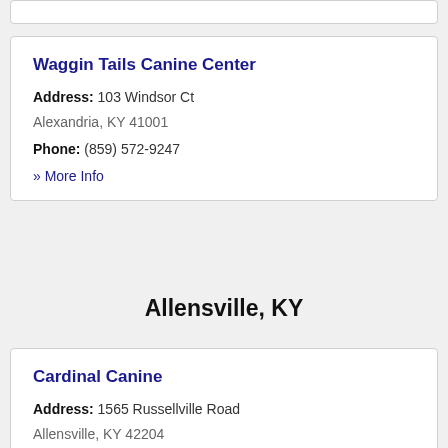Waggin Tails Canine Center
Address: 103 Windsor Ct
Alexandria, KY 41001
Phone: (859) 572-9247
» More Info
Allensville, KY
Cardinal Canine
Address: 1565 Russellville Road
Allensville, KY 42204
Phone: (270) 991-6399